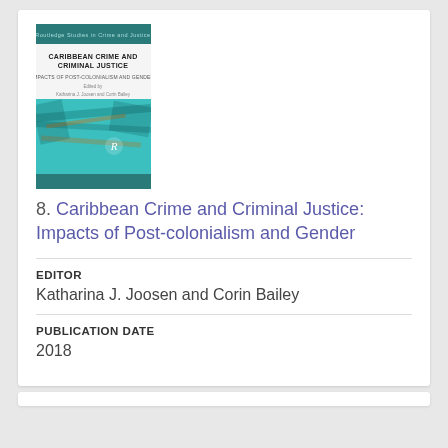[Figure (illustration): Book cover of 'Caribbean Crime and Criminal Justice: Impacts of Post-colonialism and Gender', edited by Katharina J. Joosen and Corin Bailey, Routledge publisher, teal/turquoise colored cover with abstract pattern]
8. Caribbean Crime and Criminal Justice: Impacts of Post-colonialism and Gender
EDITOR
Katharina J. Joosen and Corin Bailey
PUBLICATION DATE
2018